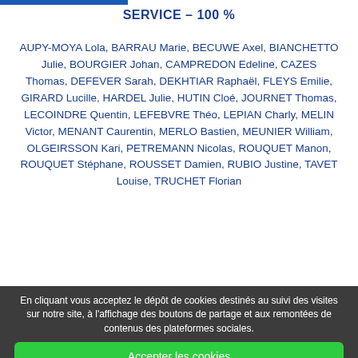SERVICE – 100 %
AUPY-MOYA Lola, BARRAU Marie, BECUWE Axel, BIANCHETTO Julie, BOURGIER Johan, CAMPREDON Edeline, CAZES Thomas, DEFEVER Sarah, DEKHTIAR Raphaël, FLEYS Emilie, GIRARD Lucille, HARDEL Julie, HUTIN Cloé, JOURNET Thomas, LECOINDRE Quentin, LEFEBVRE Théo, LEPIAN Charly, MELIN Victor, MENANT Caurentin, MERLO Bastien, MEUNIER William, OLGEIRSSON Kari, PETREMANN Nicolas, ROUQUET Manon, ROUQUET Stéphane, ROUSSET Damien, RUBIO Justine, TAVET Louise, TRUCHET Florian
En cliquant vous acceptez le dépôt de cookies destinés au suivi des visites sur notre site, à l'affichage des boutons de partage et aux remontées de contenus des plateformes sociales.
Accepter les cookies
Refuser les cookies